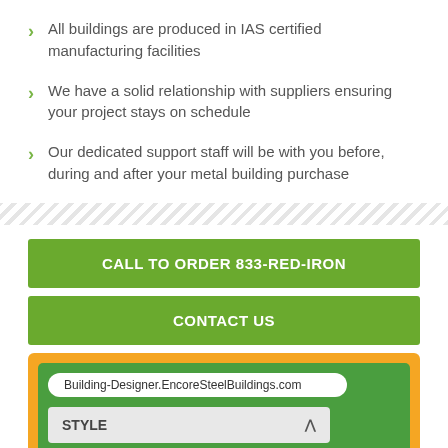All buildings are produced in IAS certified manufacturing facilities
We have a solid relationship with suppliers ensuring your project stays on schedule
Our dedicated support staff will be with you before, during and after your metal building purchase
CALL TO ORDER 833-RED-IRON
CONTACT US
[Figure (screenshot): Browser interface showing Building-Designer.EncoreSteelBuildings.com URL and a STYLE dropdown menu]
Building-Designer.EncoreSteelBuildings.com
STYLE